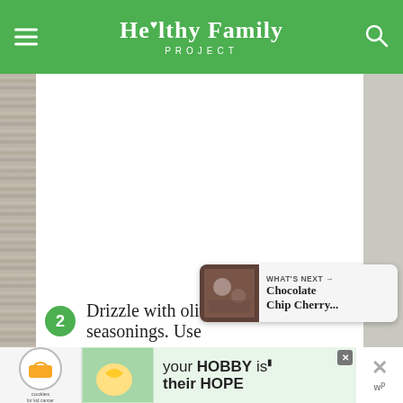Healthy Family PROJECT
[Figure (screenshot): White content area showing recipe steps with wood grain sides, green action buttons (heart/save and share), and a 'What's Next' preview card for Chocolate Chip Cherry...]
2 Drizzle with olive oil and seasonings. Use
[Figure (screenshot): Advertisement banner: cookies for kid cancer - your HOBBY is their HOPE]